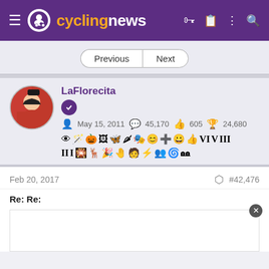cyclingnews
Previous | Next
LaFlorecita
May 15, 2011  45,170  605  24,680
Feb 20, 2017  #42,476
Re: Re: